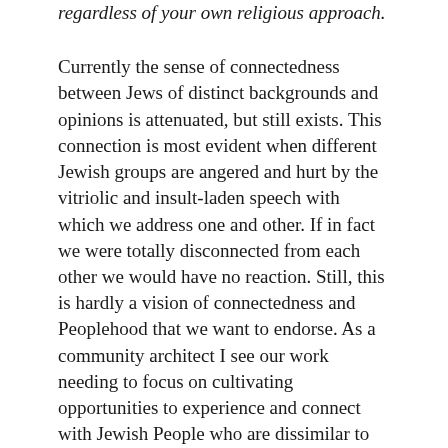regardless of your own religious approach.
Currently the sense of connectedness between Jews of distinct backgrounds and opinions is attenuated, but still exists. This connection is most evident when different Jewish groups are angered and hurt by the vitriolic and insult-laden speech with which we address one and other. If in fact we were totally disconnected from each other we would have no reaction. Still, this is hardly a vision of connectedness and Peoplehood that we want to endorse. As a community architect I see our work needing to focus on cultivating opportunities to experience and connect with Jewish People who are dissimilar to us and by extension with Jewish Peoplehood. It is our role to provide the respectful and appropriate language for the conversations which need to be had. We need to cultivate communities where